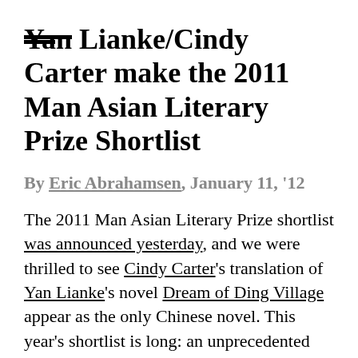Yan Lianke/Cindy Carter make the 2011 Man Asian Literary Prize Shortlist
By Eric Abrahamsen, January 11, '12
The 2011 Man Asian Literary Prize shortlist was announced yesterday, and we were thrilled to see Cindy Carter's translation of Yan Lianke's novel Dream of Ding Village appear as the only Chinese novel. This year's shortlist is long: an unprecedented seven books